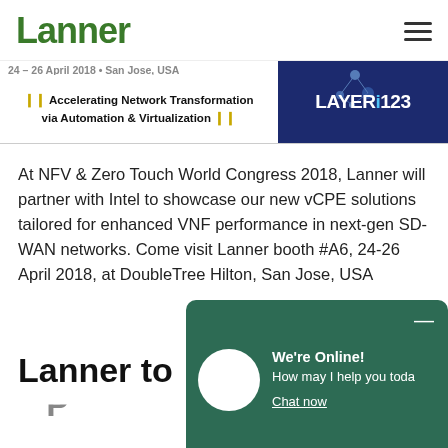Lanner
[Figure (screenshot): Banner for NFV & Zero Touch World Congress 2018 event, 24-26 April 2018, San Jose, USA. Shows tagline: Accelerating Network Transformation via Automation & Virtualization, with Layer123 logo on the right.]
At NFV & Zero Touch World Congress 2018, Lanner will partner with Intel to showcase our new vCPE solutions tailored for enhanced VNF performance in next-gen SD-WAN networks. Come visit Lanner booth #A6, 24-26 April 2018, at DoubleTree Hilton, San Jose, USA
Lanner to
[Figure (screenshot): Chat widget overlay: We're Online! How may I help you today? Chat now]